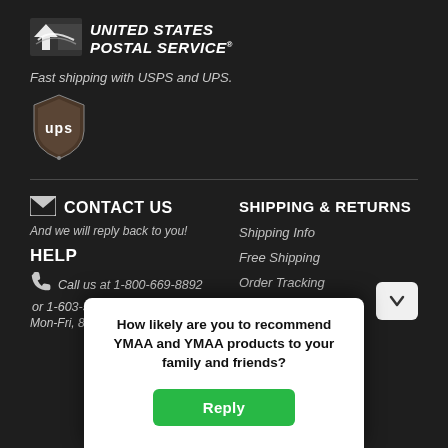[Figure (logo): United States Postal Service (USPS) logo with eagle icon and bold italic text]
Fast shipping with USPS and UPS.
[Figure (logo): UPS shield logo]
CONTACT US
And we will reply back to you!
HELP
Call us at 1-800-669-8892
or 1-603-569-7988
Mon-Fri, 8:30AM to 4:30PM ET
SHIPPING & RETURNS
Shipping Info
Free Shipping
Order Tracking
Delivery Times
How likely are you to recommend YMAA and YMAA products to your family and friends?
Reply